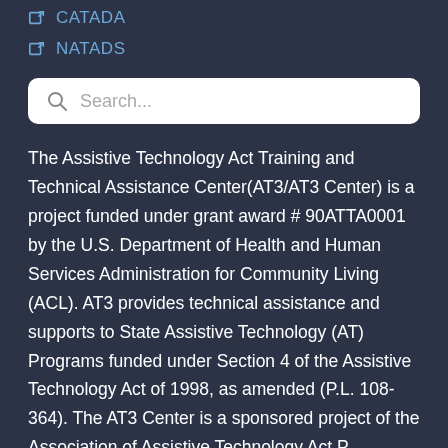CATADA
NATADS
Search...
The Assistive Technology Act Training and Technical Assistance Center(AT3/AT3 Center) is a project funded under grant award # 90ATTA0001 by the U.S. Department of Health and Human Services Administration for Community Living (ACL). AT3 provides technical assistance and supports to State Assistive Technology (AT) Programs funded under Section 4 of the Assistive Technology Act of 1998, as amended (P.L. 108-364). The AT3 Center is a sponsored project of the Association of Assistive Technology Act Programs...